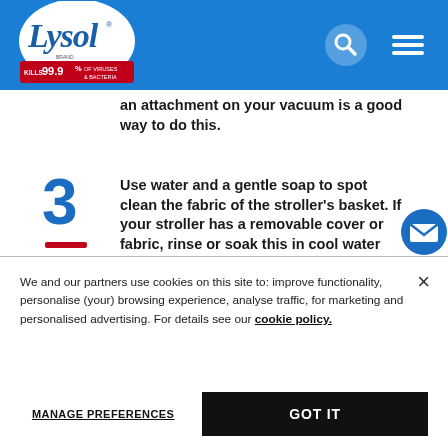[Figure (logo): Lysol brand logo with 'KILLS 99.9% OF VIRUSES & BACTERIA' red banner on blue navigation bar with search and menu icons]
an attachment on your vacuum is a good way to do this.
3  Use water and a gentle soap to spot clean the fabric of the stroller's basket. If your stroller has a removable cover or fabric, rinse or soak this in cool water
We and our partners use cookies on this site to: improve functionality, personalise (your) browsing experience, analyse traffic, for marketing and personalised advertising. For details see our cookie policy.
MANAGE PREFERENCES   GOT IT